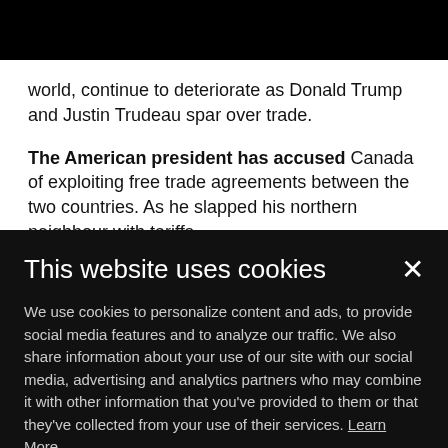world, continue to deteriorate as Donald Trump and Justin Trudeau spar over trade.
The American president has accused Canada of exploiting free trade agreements between the two countries. As he slapped his northern neighbour with tariffs,
This website uses cookies
We use cookies to personalize content and ads, to provide social media features and to analyze our traffic. We also share information about your use of our site with our social media, advertising and analytics partners who may combine it with other information that you've provided to them or that they've collected from your use of their services. Learn More